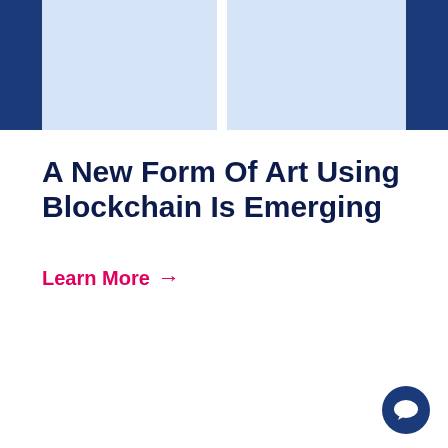[Figure (other): Header banner with dark navy blue columns on left and right edges, and a light blue wide column in the center, creating a striped/paneled visual header decoration.]
A New Form Of Art Using Blockchain Is Emerging
Learn More →